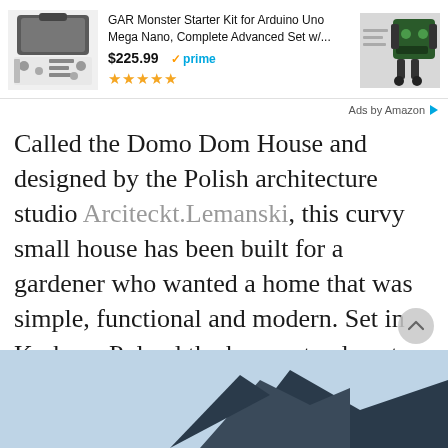[Figure (screenshot): Amazon ad banner showing GAR Monster Starter Kit for Arduino Uno Mega Nano product with price $225.99 and Prime badge, 5-star rating, and product images on left and right]
Ads by Amazon
Called the Domo Dom House and designed by the Polish architecture studio Arciteckt.Lemanski, this curvy small house has been built for a gardener who wanted a home that was simple, functional and modern. Set in Krakow, Poland the house stands out among its neighbours thanks to its unique form.
[Figure (photo): Bottom portion of page showing a light blue sky background with dark blue angular roof/building structure visible at bottom center]